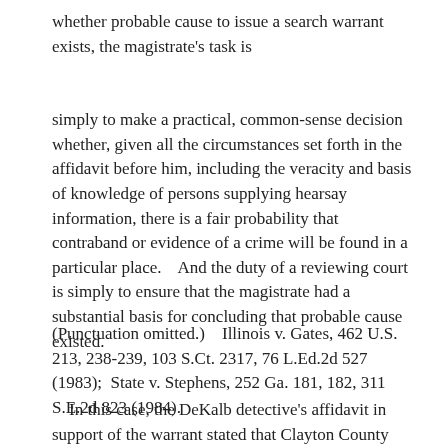whether probable cause to issue a search warrant exists, the magistrate's task is
simply to make a practical, common-sense decision whether, given all the circumstances set forth in the affidavit before him, including the veracity and basis of knowledge of persons supplying hearsay information, there is a fair probability that contraband or evidence of a crime will be found in a particular place.    And the duty of a reviewing court is simply to ensure that the magistrate had a substantial basis for concluding that probable cause existed.
(Punctuation omitted.)    Illinois v. Gates, 462 U.S. 213, 238-239, 103 S.Ct. 2317, 76 L.Ed.2d 527 (1983);  State v. Stephens, 252 Ga. 181, 182, 311 S.E.2d 823 (1984).
In this case, the DeKalb detective's affidavit in support of the warrant stated that Clayton County investigators